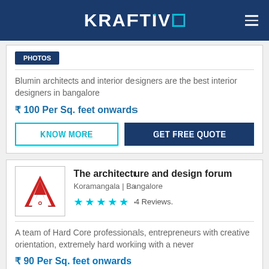KRAFTIVO
Blumin architects and interior designers are the best interior designers in bangalore
₹ 100 Per Sq. feet onwards
KNOW MORE
GET FREE QUOTE
The architecture and design forum
Koramangala | Bangalore
4 Reviews.
A team of Hard Core professionals, entrepreneurs with creative orientation, extremely hard working with a never
₹ 90 Per Sq. feet onwards